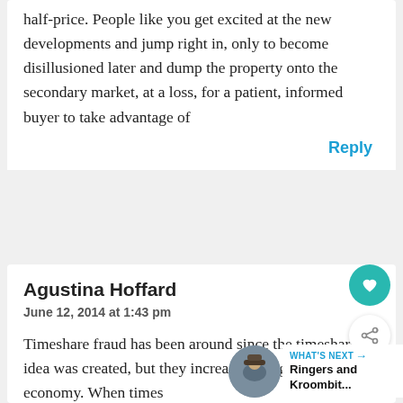half-price. People like you get excited at the new developments and jump right in, only to become disillusioned later and dump the property onto the secondary market, at a loss, for a patient, informed buyer to take advantage of
Reply
Agustina Hoffard
June 12, 2014 at 1:43 pm
Timeshare fraud has been around since the timeshare idea was created, but they increase during poor economy. When times